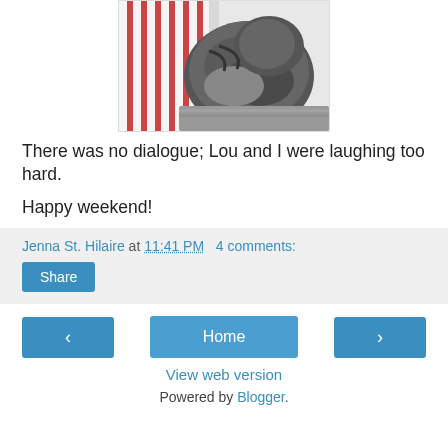[Figure (photo): Photo of a cat partially hidden under striped red and white bedding, resting on a gray textured surface against a white wall.]
There was no dialogue; Lou and I were laughing too hard.
Happy weekend!
Jenna St. Hilaire at 11:41 PM   4 comments:
Share
Home
View web version
Powered by Blogger.